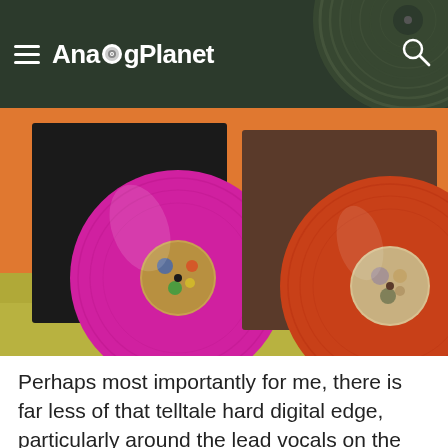AnalogPlanet
[Figure (photo): Two colored vinyl records leaning against sleeves on an orange and green background. Left record is magenta/pink, right record is orange/red, both with visible label centers.]
Perhaps most importantly for me, there is far less of that telltale hard digital edge, particularly around the lead vocals on the new VMP pressing. I can turn this up good and loud without feeling harshness